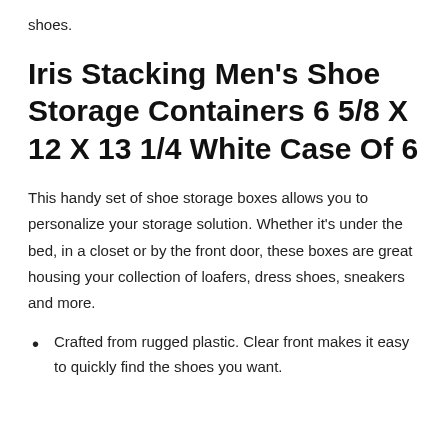shoes.
Iris Stacking Men’s Shoe Storage Containers 6 5/8 X 12 X 13 1/4 White Case Of 6
This handy set of shoe storage boxes allows you to personalize your storage solution. Whether it’s under the bed, in a closet or by the front door, these boxes are great housing your collection of loafers, dress shoes, sneakers and more.
Crafted from rugged plastic. Clear front makes it easy to quickly find the shoes you want.